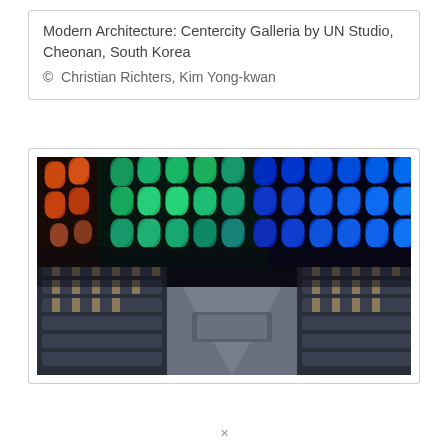Modern Architecture: Centercity Galleria by UN Studio, Cheonan, South Korea
© Christian Richters, Kim Yong-kwan
[Figure (photo): Interior photo of a theater auditorium with rows of dark seats on both sides and a dramatic ceiling/wall covered in a geometric petal/leaf pattern illuminated with vibrant blue, teal, green, and orange/red LED lights against a dark background.]